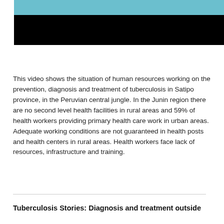[Figure (photo): Video thumbnail showing medical/health workers scene in teal/blue tones at top, with a black banner below]
This video shows the situation of human resources working on the prevention, diagnosis and treatment of tuberculosis in Satipo province, in the Peruvian central jungle. In the Junin region there are no second level health facilities in rural areas and 59% of health workers providing primary health care work in urban areas. Adequate working conditions are not guaranteed in health posts and health centers in rural areas. Health workers face lack of resources, infrastructure and training.
Tuberculosis Stories: Diagnosis and treatment outside of large cities